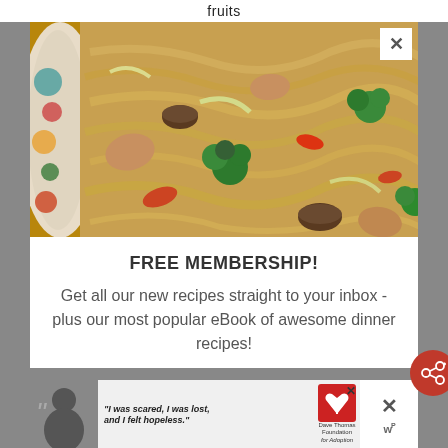fruits
[Figure (photo): Close-up photo of a pan of stir-fried noodles with chicken, broccoli, carrots, mushrooms, and cabbage. A decorative bowl edge is visible on the left.]
FREE MEMBERSHIP!
Get all our new recipes straight to your inbox - plus our most popular eBook of awesome dinner recipes!
[Figure (other): Advertisement banner: person with quote 'I was scared, I was lost, and I felt hopeless.' with Dave Thomas Foundation for Adoption logo]
[Figure (other): Share icon (red circle with share symbol) and close/Wordpress icons on right edge]